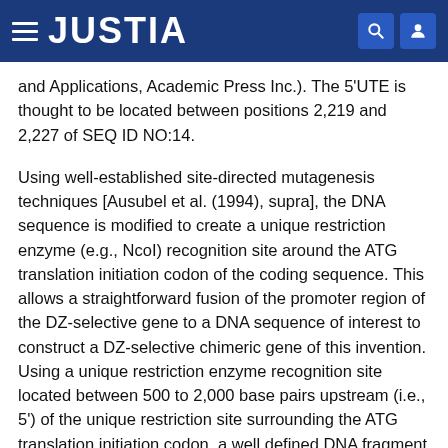JUSTIA
and Applications, Academic Press Inc.). The 5'UTE is thought to be located between positions 2,219 and 2,227 of SEQ ID NO:14.
Using well-established site-directed mutagenesis techniques [Ausubel et al. (1994), supra], the DNA sequence is modified to create a unique restriction enzyme (e.g., NcoI) recognition site around the ATG translation initiation codon of the coding sequence. This allows a straightforward fusion of the promoter region of the DZ-selective gene to a DNA sequence of interest to construct a DZ-selective chimeric gene of this invention. Using a unique restriction enzyme recognition site located between 500 to 2,000 base pairs upstream (i.e., 5') of the unique restriction site surrounding the ATG translation initiation codon, a well defined DNA fragment is isolated, that is subsequently used as a promoter cassette, hereinafter referred to as PR7, that